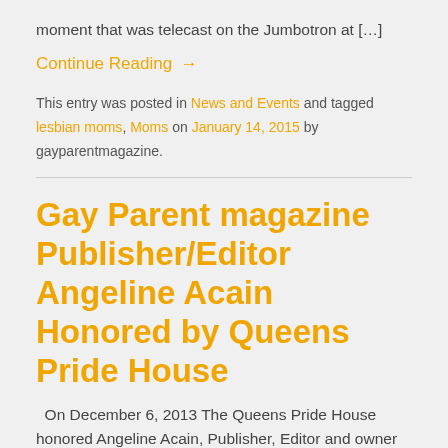moment that was telecast on the Jumbotron at […]
Continue Reading →
This entry was posted in News and Events and tagged lesbian moms, Moms on January 14, 2015 by gayparentmagazine.
Gay Parent magazine Publisher/Editor Angeline Acain Honored by Queens Pride House
On December 6, 2013 The Queens Pride House honored Angeline Acain, Publisher, Editor and owner of Gay Parent